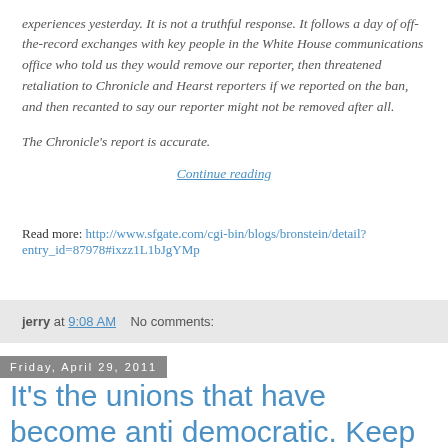experiences yesterday. It is not a truthful response. It follows a day of off-the-record exchanges with key people in the White House communications office who told us they would remove our reporter, then threatened retaliation to Chronicle and Hearst reporters if we reported on the ban, and then recanted to say our reporter might not be removed after all.

The Chronicle's report is accurate.
Continue reading
Read more: http://www.sfgate.com/cgi-bin/blogs/bronstein/detail?entry_id=87978#ixzz1L1bJgYMp
jerry at 9:08 AM    No comments:
Friday, April 29, 2011
It's the unions that have become anti democratic. Keep giving us more reasons to hate unions.